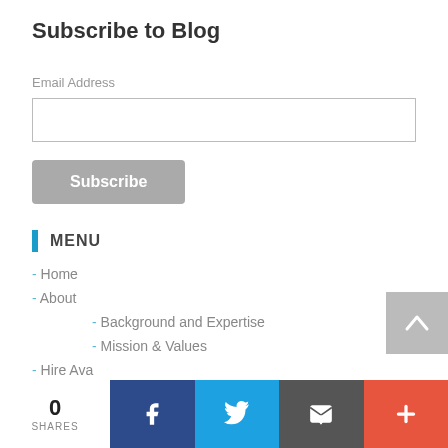Subscribe to Blog
Email Address
Subscribe
MENU
Home
About
Background and Expertise
Mission & Values
Hire Ava
Blog
Books
0 SHARES